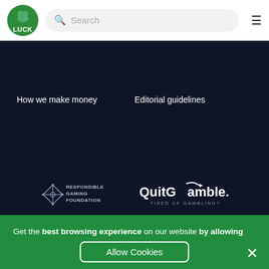[Figure (logo): Luck logo - green circular badge with shamrock/clover icon and LUCK text]
Search
[Figure (other): Hamburger menu icon]
How we make money
Editorial guidelines
[Figure (logo): Responsible Gaming Foundation logo - white diamond/cross pattern with text RESPONSIBLE GAMING FOUNDATION]
[Figure (logo): QuitGamble.com logo - white text with tagline TIRED OF GAMBLING?]
Get the best browsing experience on our website by allowing cookies! Cookie Policy!
Allow Cookies